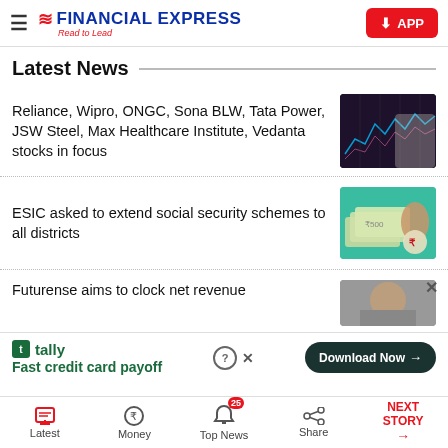FINANCIAL EXPRESS — Read to Lead
Latest News
Reliance, Wipro, ONGC, Sona BLW, Tata Power, JSW Steel, Max Healthcare Institute, Vedanta stocks in focus
[Figure (photo): Stock market chart on dark screen]
ESIC asked to extend social security schemes to all districts
[Figure (photo): Hands with Indian currency notes and rupee coin icon on teal background]
Futurense aims to clock net revenue
[Figure (photo): Partial image of person]
Fast credit card payoff — tally — Download Now
Latest | Money | Top News 25 | Share | NEXT STORY